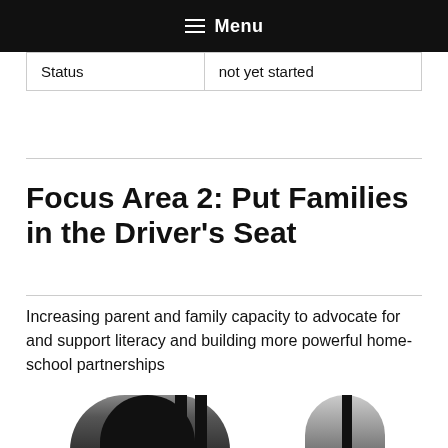Menu
| Status | not yet started |
Focus Area 2: Put Families in the Driver's Seat
Increasing parent and family capacity to advocate for and support literacy and building more powerful home-school partnerships
[Figure (photo): Black and white photo showing a person with dark hair and what appears to be a circular object on the right side]